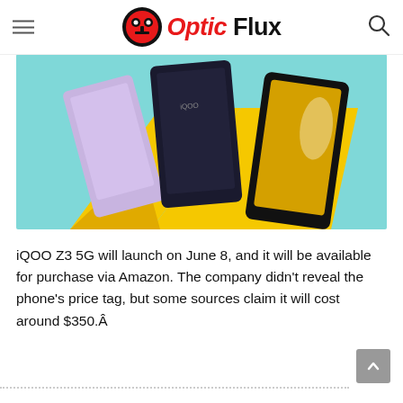Optic Flux
[Figure (photo): iQOO Z3 5G smartphones promotional image showing multiple phones against a teal and yellow geometric background]
iQOO Z3 5G will launch on June 8, and it will be available for purchase via Amazon. The company didn't reveal the phone's price tag, but some sources claim it will cost around $350.Â